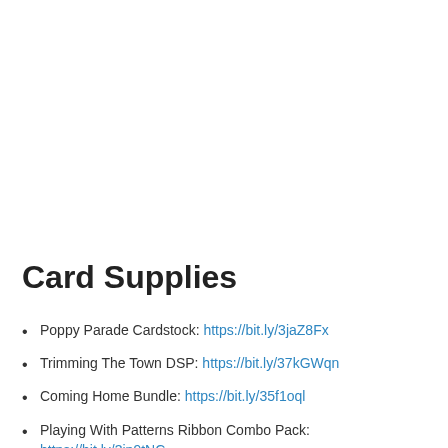Card Supplies
Poppy Parade Cardstock: https://bit.ly/3jaZ8Fx
Trimming The Town DSP: https://bit.ly/37kGWqn
Coming Home Bundle: https://bit.ly/35f1oql
Playing With Patterns Ribbon Combo Pack: https://bit.ly/3ip9tNC
Whisper White Cardstock: https://bit.ly/2RU2KjT